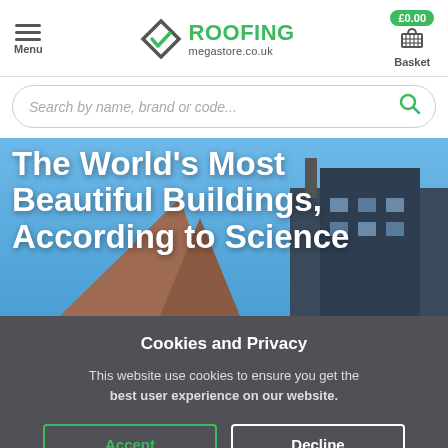Menu | ROOFING megastore.co.uk | £0.00 Basket
Search by name, brand or code...
The World's Most Beautiful Buildings, According to Science
Cookies and Privacy
This website use cookies to ensure you get the best user experience on our website.
Accept
Decline
Read our Privacy Policy